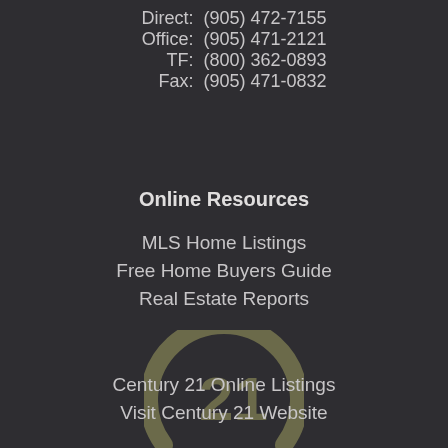Direct: (905) 472-7155
Office: (905) 471-2121
TF: (800) 362-0893
Fax: (905) 471-0832
Online Resources
MLS Home Listings
Free Home Buyers Guide
Real Estate Reports
[Figure (logo): Century 21 logo — stylized arc with the number 21 inside, rendered in dark olive/grey tones on dark background]
Century 21 Online Listings
Visit Century 21 Website